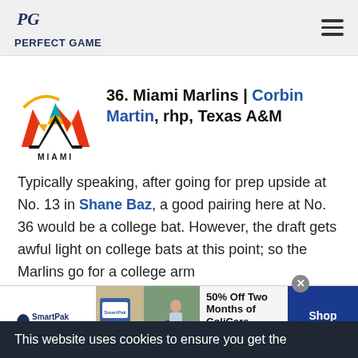PERFECT GAME
[Figure (logo): Miami Marlins team logo with stylized M in orange, yellow, black and teal, with MIAMI text below]
36. Miami Marlins | Corbin Martin, rhp, Texas A&M
Typically speaking, after going for prep upside at No. 13 in Shane Baz, a good pairing here at No. 36 would be a college bat. However, the draft gets awful light on college bats at this point; so the Marlins go for a college arm
This website uses cookies to ensure you get the
[Figure (infographic): SmartPak advertisement: 50% Off Two Months of ColiCare, ColiCare Eligible Supplements, CODE: COLICARE10, Shop Now button]